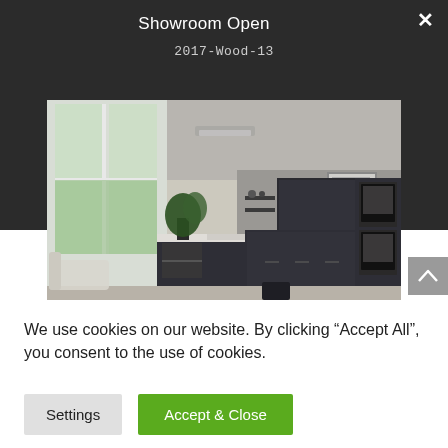Showroom Open
2017-Wood-13
[Figure (photo): Modern dark kitchen showroom with island counter, built-in appliances, open shelving, large windows with garden view, and a sofa visible in the background.]
We use cookies on our website. By clicking “Accept All”, you consent to the use of cookies.
Settings
Accept & Close